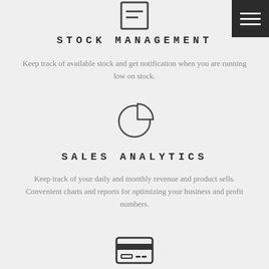[Figure (illustration): List/document icon at top center — rectangle outline with two horizontal lines inside]
[Figure (illustration): Hamburger menu icon (three horizontal white lines on black square background) in top-right corner]
STOCK MANAGEMENT
Keep track of available stock and get notification when you are running low on stock.
[Figure (illustration): Pie chart icon with one slice pulled out, outline style]
SALES ANALYTICS
Keep track of your daily and monthly revenue and product sells. Convenient charts and reports for optimizing your business and profit numbers.
[Figure (illustration): Credit card / payment icon at bottom center — rectangle with horizontal stripe and small rectangle detail]